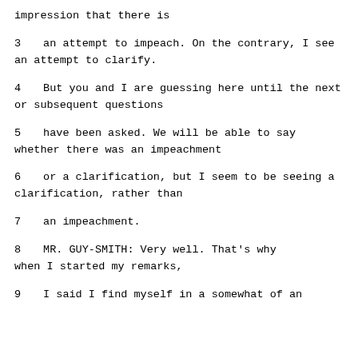impression that there is
3      an attempt to impeach.  On the contrary, I see an attempt to clarify.
4      But you and I are guessing here until the next or subsequent questions
5      have been asked.  We will be able to say whether there was an impeachment
6      or a clarification, but I seem to be seeing a clarification, rather than
7      an impeachment.
8             MR. GUY-SMITH:  Very well.  That's why when I started my remarks,
9      I said I find myself in a somewhat of an